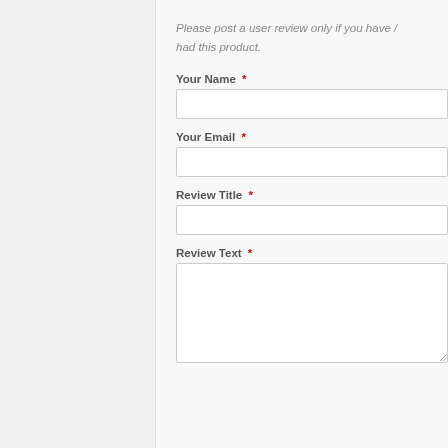Please post a user review only if you have / had this product.
Your Name *
Your Email *
Review Title *
Review Text *